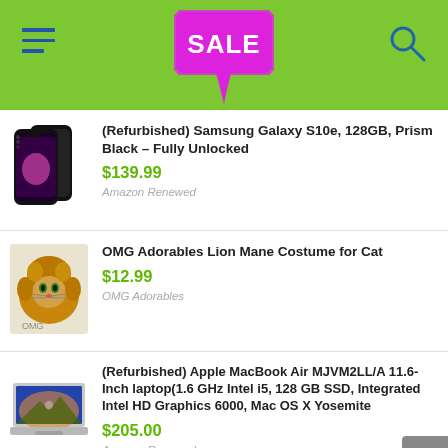SALE
(Refurbished) Samsung Galaxy S10e, 128GB, Prism Black – Fully Unlocked
$139.99
Amazon Renewed
OMG Adorables Lion Mane Costume for Cat
$12.99
OMG Adorables
(Refurbished) Apple MacBook Air MJVM2LL/A 11.6-Inch laptop(1.6 GHz Intel i5, 128 GB SSD, Integrated Intel HD Graphics 6000, Mac OS X Yosemite
$205.00
Amazon Renewed